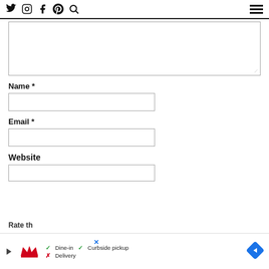Twitter, Instagram, Facebook, Pinterest, Search icons; hamburger menu
[Comment textarea]
Name *
[Name input field]
Email *
[Email input field]
Website
[Website input field]
[Figure (screenshot): Ad banner showing Smoothie King logo with play button, Dine-in checkmark, Curbside pickup checkmark, Delivery cross, and navigation arrow icon]
Rate th…